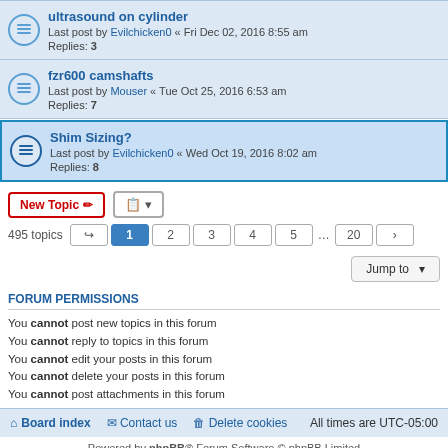ultrasound on cylinder — Last post by Evilchicken0 « Fri Dec 02, 2016 8:55 am — Replies: 3
fzr600 camshafts — Last post by Mouser « Tue Oct 25, 2016 6:53 am — Replies: 7
Shim Sizing? — Last post by Evilchicken0 « Wed Oct 19, 2016 8:02 am — Replies: 8
New Topic | Sort | 495 topics | Page 1 2 3 4 5 ... 20 | Jump to
FORUM PERMISSIONS
You cannot post new topics in this forum
You cannot reply to topics in this forum
You cannot edit your posts in this forum
You cannot delete your posts in this forum
You cannot post attachments in this forum
Board index | Contact us | Delete cookies | All times are UTC-05:00
Powered by phpBB® Forum Software © phpBB Limited
Privacy | Terms